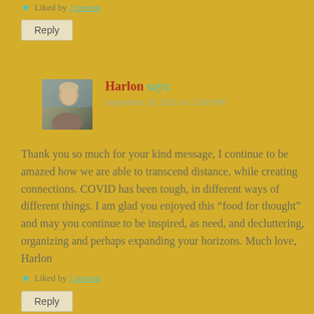★ Liked by 1 person
Reply
Harlon says: September 28, 2021 at 12:08 PM
Thank you so much for your kind message, I continue to be amazed how we are able to transcend distance, while creating connections. COVID has been tough, in different ways of different things. I am glad you enjoyed this “food for thought” and may you continue to be inspired, as need, and decluttering, organizing and perhaps expanding your horizons. Much love, Harlon
★ Liked by 1 person
Reply